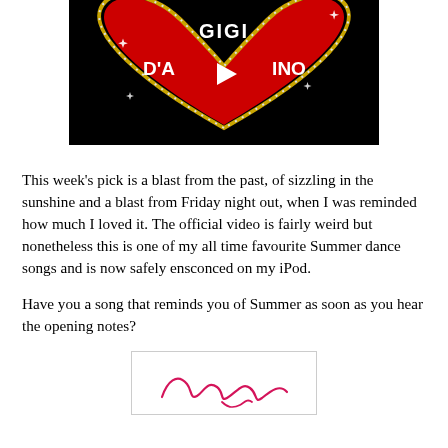[Figure (screenshot): Video thumbnail showing a red heart shape with diamond/gold border on black background. Text on heart reads 'GIGI' at top and 'D'A [play button] INO' in white letters. Play button triangle visible in center.]
This week's pick is a blast from the past, of sizzling in the sunshine and a blast from Friday night out, when I was reminded how much I loved it. The official video is fairly weird but nonetheless this is one of my all time favourite Summer dance songs and is now safely ensconced on my iPod.
Have you a song that reminds you of Summer as soon as you hear the opening notes?
[Figure (illustration): Handwritten signature in red/pink cursive on white background with thin border]